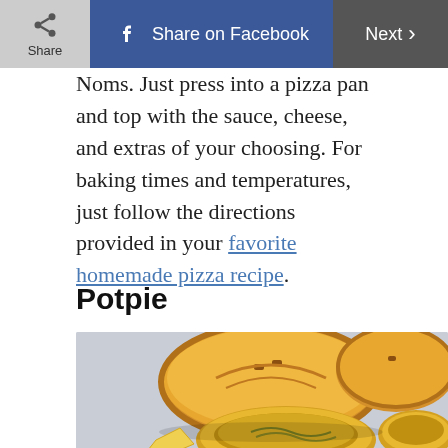Share | Share on Facebook | Next
Noms. Just press into a pizza pan and top with the sauce, cheese, and extras of your choosing. For baking times and temperatures, just follow the directions provided in your favorite homemade pizza recipe.
Potpie
[Figure (photo): Photo of baked potpies with golden-brown pastry crusts on a light blue/gray background]